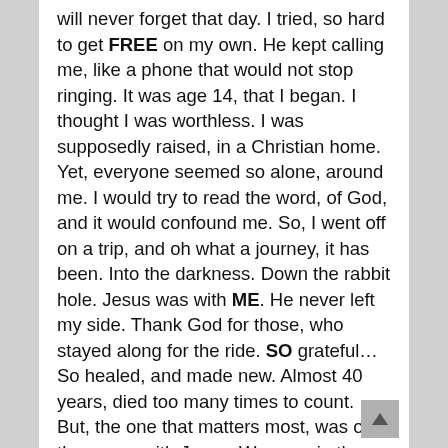will never forget that day. I tried, so hard to get FREE on my own. He kept calling me, like a phone that would not stop ringing. It was age 14, that I began. I thought I was worthless. I was supposedly raised, in a Christian home. Yet, everyone seemed so alone, around me. I would try to read the word, of God, and it would confound me. So, I went off on a trip, and oh what a journey, it has been. Into the darkness. Down the rabbit hole. Jesus was with ME. He never left my side. Thank God for those, who stayed along for the ride. SO grateful… So healed, and made new. Almost 40 years, died too many times to count. But, the one that matters most, was on the cross, with Jesus. We were in the audience, throwing stones, and yet With HIM.
The world will tell you, THAT considering